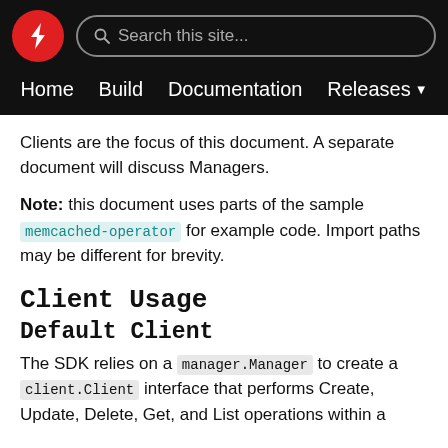Search this site... | Home | Build | Documentation | Releases
Clients are the focus of this document. A separate document will discuss Managers.
Note: this document uses parts of the sample memcached-operator for example code. Import paths may be different for brevity.
Client Usage
Default Client
The SDK relies on a manager.Manager to create a client.Client interface that performs Create, Update, Delete, Get, and List operations within a